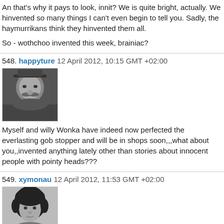An that's why it pays to look, innit? We is quite bright, actually. We hinvented so many things I can't even begin to tell you. Sadly, the haymurrikans think they hinvented them all.
So - wothchoo invented this week, brainiac?
548. happyture  12 April 2012, 10:15 GMT +02:00
[Figure (photo): Black and white close-up photo of an older man with a mustache]
Myself and willy Wonka have indeed now perfected the everlasting gob stopper and will be in shops soon,,,what about you,,invented anything lately other than stories about innocent people with pointy heads???
549. xymonau  12 April 2012, 11:53 GMT +02:00
[Figure (photo): Black and white photo of a person with curly dark hair]